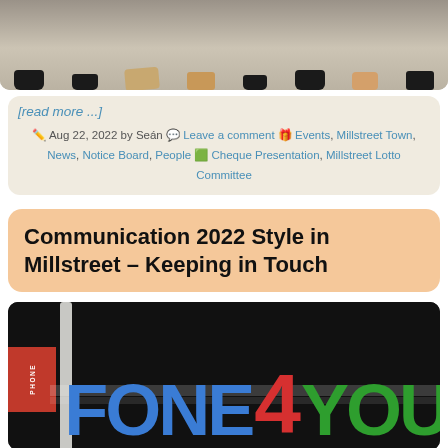[Figure (photo): Top portion of a photo showing people's feet and legs at what appears to be a seated event or presentation]
[read more ...]
Aug 22, 2022 by Seán 💬 Leave a comment 🎁 Events, Millstreet Town, News, Notice Board, People 🟢 Cheque Presentation, Millstreet Lotto Committee
Communication 2022 Style in Millstreet – Keeping in Touch
[Figure (photo): Photo of a shop sign reading 'FONE 4 YOU' with blue, red and green lettering on a black background]